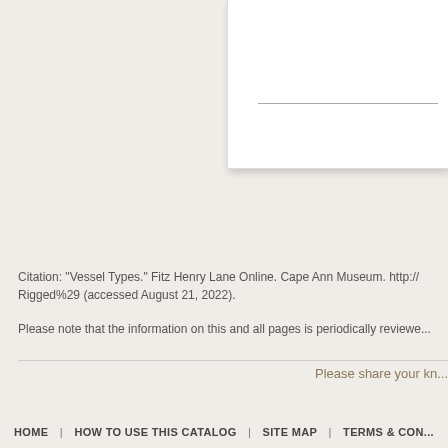[Figure (other): White card/panel with a horizontal dividing line near the bottom, partially visible in upper right corner of the page]
Citation: "Vessel Types." Fitz Henry Lane Online. Cape Ann Museum. http://...Rigged%29 (accessed August 21, 2022).
Please note that the information on this and all pages is periodically reviewed...
Please share your kn...
HOME | HOW TO USE THIS CATALOG | SITE MAP | TERMS & CON...